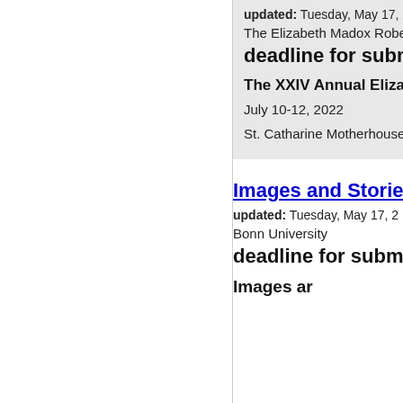updated: Tuesday, May 17, 2...
The Elizabeth Madox Roberts
deadline for submiss
The XXIV Annual Elizabeth
July 10-12, 2022
St. Catharine Motherhouse—S
Images and Stories o
updated: Tuesday, May 17, 2...
Bonn University
deadline for submiss
Images ar